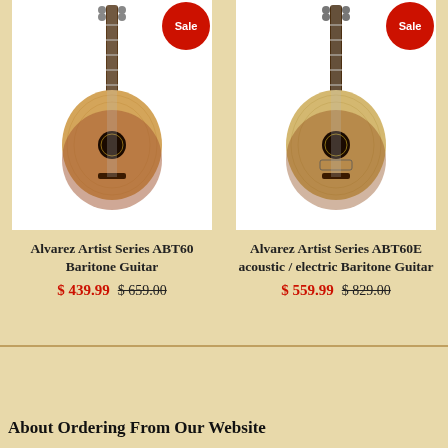[Figure (photo): Alvarez Artist Series ABT60 Baritone Guitar product photo with Sale badge]
[Figure (photo): Alvarez Artist Series ABT60E acoustic/electric Baritone Guitar product photo with Sale badge]
Alvarez Artist Series ABT60 Baritone Guitar
$ 439.99 $ 659.00
Alvarez Artist Series ABT60E acoustic / electric Baritone Guitar
$ 559.99 $ 829.00
About Ordering From Our Website